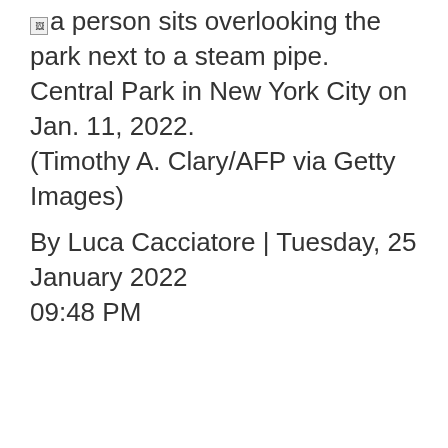a person sits overlooking the park next to a steam pipe. Central Park in New York City on Jan. 11, 2022. (Timothy A. Clary/AFP via Getty Images)
By Luca Cacciatore | Tuesday, 25 January 2022 09:48 PM